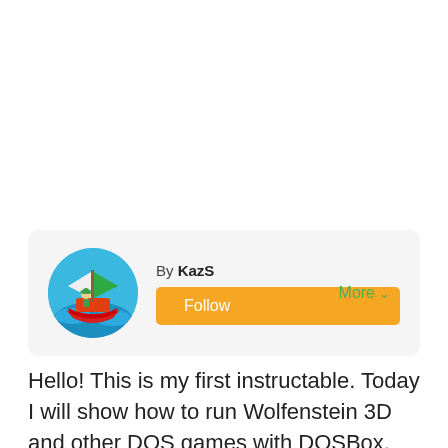[Figure (illustration): Circular avatar showing a cartoon illustration of Link from The Legend of Zelda: Wind Waker sailing on a boat with colorful waves]
By KazS
Follow
More
Hello! This is my first instructable. Today I will show how to run Wolfenstein 3D and other DOS games with DOSBox. DOSBox is a DOS emulator created with SDL, the Simple Directmedia Library. Download